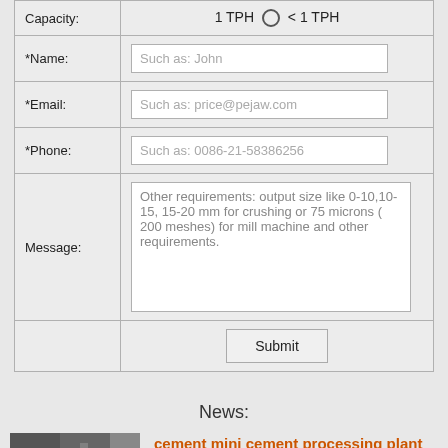| Field | Value |
| --- | --- |
| Capacity: | 1 TPH ○ < 1 TPH |
| *Name: | Such as: John |
| *Email: | Such as: price@pejaw.com |
| *Phone: | Such as: 0086-21-58386256 |
| Message: | Other requirements: output size like 0-10,10-15, 15-20 mm for crushing or 75 microns ( 200 meshes) for mill machine and other requirements. |
|  | Submit |
News:
[Figure (photo): Worker in industrial setting with red helmet, cement/industrial plant background]
cement mini cement processing plant india - Know